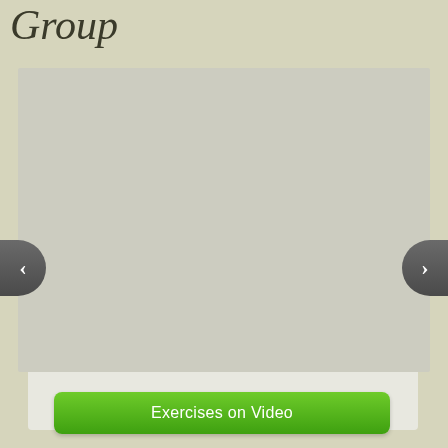Group
[Figure (screenshot): A slideshow/image carousel widget with a light beige/gray empty content area, a white border frame, and navigation arrows on the left and right sides for browsing slides. Left arrow button on the left edge, right arrow button on the right edge.]
Exercises on Video
Stroke Facts